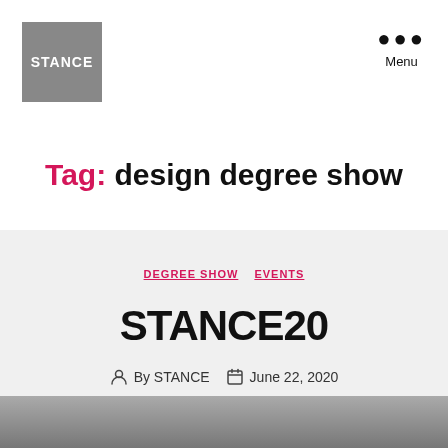[Figure (logo): STANCE logo — white text on grey square background]
Menu
Tag: design degree show
DEGREE SHOW  EVENTS
STANCE20
By STANCE   June 22, 2020
[Figure (photo): Bottom strip of a photograph showing an architectural/outdoor scene]